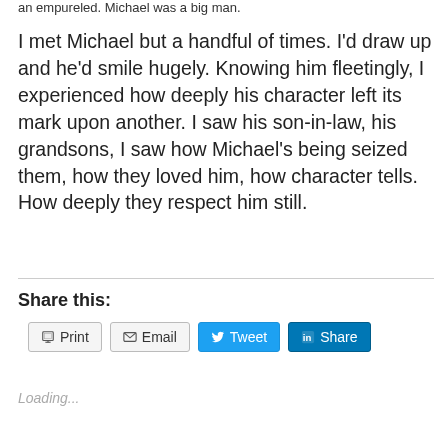an empureled. Michael was a big man.
I met Michael but a handful of times. I'd draw up and he'd smile hugely. Knowing him fleetingly, I experienced how deeply his character left its mark upon another. I saw his son-in-law, his grandsons, I saw how Michael's being seized them, how they loved him, how character tells. How deeply they respect him still.
Share this:
[Figure (screenshot): Social share buttons: Print, Email, Tweet, Share]
Loading...